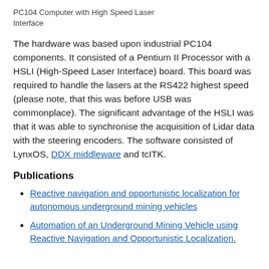PC104 Computer with High Speed Laser Interface
The hardware was based upon industrial PC104 components. It consisted of a Pentium II Processor with a HSLI (High-Speed Laser Interface) board. This board was required to handle the lasers at the RS422 highest speed (please note, that this was before USB was commonplace). The significant advantage of the HSLI was that it was able to synchronise the acquisition of Lidar data with the steering encoders. The software consisted of LynxOS, DDX middleware and tcITK.
Publications
Reactive navigation and opportunistic localization for autonomous underground mining vehicles (strikethrough link)
Automation of an Underground Mining Vehicle using Reactive Navigation and Opportunistic Localization.